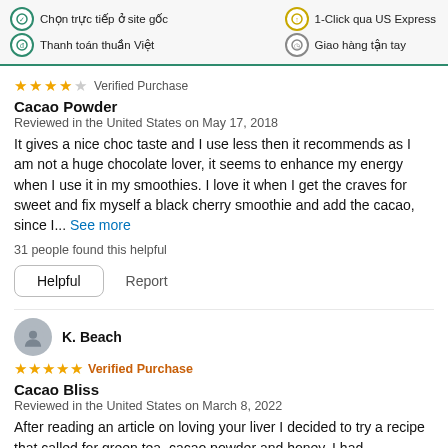Chọn trực tiếp ở site gốc | Thanh toán thuần Việt | 1-Click qua US Express | Giao hàng tận tay
Cacao Powder
Reviewed in the United States on May 17, 2018
It gives a nice choc taste and I use less then it recommends as I am not a huge chocolate lover, it seems to enhance my energy when I use it in my smoothies. I love it when I get the craves for sweet and fix myself a black cherry smoothie and add the cacao, since I... See more
31 people found this helpful
Helpful   Report
K. Beach
Verified Purchase
Cacao Bliss
Reviewed in the United States on March 8, 2022
After reading an article on loving your liver I decided to try a recipe that called for green tea, cacao powder and honey. I had